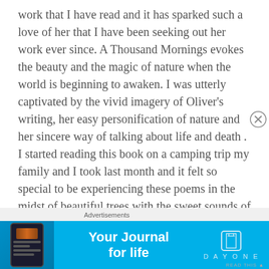work that I have read and it has sparked such a love of her that I have been seeking out her work ever since. A Thousand Mornings evokes the beauty and the magic of nature when the world is beginning to awaken. I was utterly captivated by the vivid imagery of Oliver's writing, her easy personification of nature and her sincere way of talking about life and death . I started reading this book on a camping trip my family and I took last month and it felt so special to be experiencing these poems in the midst of beautiful trees with the sweet sounds of birds. I finished reading it after we came home and while it wasn't quite as a remarkable reading circumstance I still found the remaining poems incredibly moving. I have too many favorite numerous poems but I did want to make note of
Advertisements
[Figure (infographic): Blue advertisement banner for Day One app — 'Your Journal for life' with a phone mockup on the left and the Day One logo on the right]